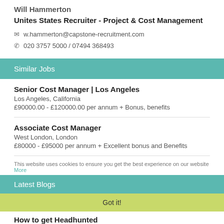Will Hammerton
Unites States Recruiter - Project & Cost Management
w.hammerton@capstone-recruitment.com
020 3757 5000 / 07494 368493
Similar Jobs
Senior Cost Manager | Los Angeles
Los Angeles, California
£90000.00 - £120000.00 per annum + Bonus, benefits
Associate Cost Manager
West London, London
£80000 - £95000 per annum + Excellent bonus and Benefits
Associate Director - Cost Management
Miami, Florida
US$150000.00 - US$170000.00 per annum
This website uses cookies to ensure you get the best experience on our website More
Latest Blogs
Got it!
How to get Headhunted